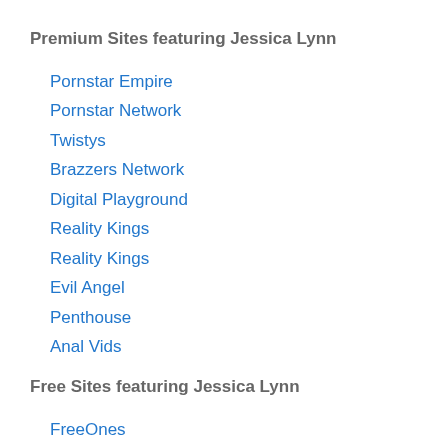Premium Sites featuring Jessica Lynn
Pornstar Empire
Pornstar Network
Twistys
Brazzers Network
Digital Playground
Reality Kings
Reality Kings
Evil Angel
Penthouse
Anal Vids
Free Sites featuring Jessica Lynn
FreeOnes
Porn-Star.com
Recent Posts